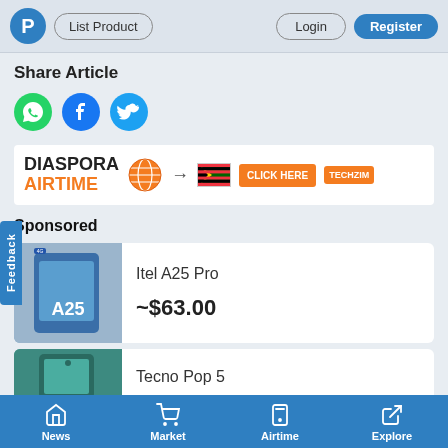P | List Product | Login | Register
Share Article
[Figure (infographic): Social share icons: WhatsApp (green), Facebook (blue), Twitter (light blue)]
[Figure (infographic): DIASPORA AIRTIME advertisement banner with globe icon, arrow, Zimbabwe flag, CLICK HERE button, and TECHZIM logo]
Sponsored
Itel A25 Pro
~$63.00
Tecno Pop 5
News | Market | Airtime | Explore